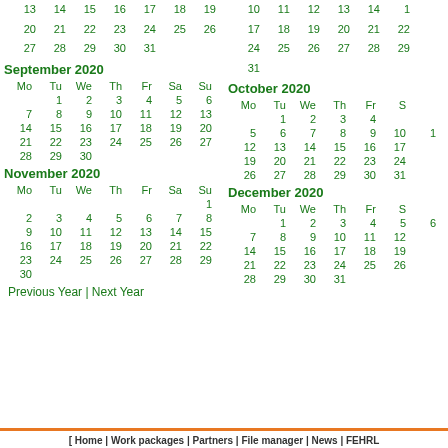August 2020 trailing days: 13 14 15 16 17 18 19 / 20 21 22 23 24 25 26 / 27 28 29 30 31
September 2020
| Mo | Tu | We | Th | Fr | Sa | Su |
| --- | --- | --- | --- | --- | --- | --- |
|  | 1 | 2 | 3 | 4 | 5 | 6 |
| 7 | 8 | 9 | 10 | 11 | 12 | 13 |
| 14 | 15 | 16 | 17 | 18 | 19 | 20 |
| 21 | 22 | 23 | 24 | 25 | 26 | 27 |
| 28 | 29 | 30 |  |  |  |  |
November 2020
| Mo | Tu | We | Th | Fr | Sa | Su |
| --- | --- | --- | --- | --- | --- | --- |
|  |  |  |  |  |  | 1 |
| 2 | 3 | 4 | 5 | 6 | 7 | 8 |
| 9 | 10 | 11 | 12 | 13 | 14 | 15 |
| 16 | 17 | 18 | 19 | 20 | 21 | 22 |
| 23 | 24 | 25 | 26 | 27 | 28 | 29 |
| 30 |  |  |  |  |  |  |
Previous Year | Next Year
August 2020 right column trailing: 10 11 12 13 14 / 17 18 19 20 21 22 / 24 25 26 27 28 29 / 31
October 2020
| Mo | Tu | We | Th | Fr | Sa | Su |
| --- | --- | --- | --- | --- | --- | --- |
|  |  | 1 | 2 | 3 | 4 |  |
| 5 | 6 | 7 | 8 | 9 | 10 | 11 |
| 12 | 13 | 14 | 15 | 16 | 17 | 18 |
| 19 | 20 | 21 | 22 | 23 | 24 | 25 |
| 26 | 27 | 28 | 29 | 30 | 31 |  |
December 2020
| Mo | Tu | We | Th | Fr | Sa | Su |
| --- | --- | --- | --- | --- | --- | --- |
|  | 1 | 2 | 3 | 4 | 5 | 6 |
| 7 | 8 | 9 | 10 | 11 | 12 | 13 |
| 14 | 15 | 16 | 17 | 18 | 19 | 20 |
| 21 | 22 | 23 | 24 | 25 | 26 | 27 |
| 28 | 29 | 30 | 31 |  |  |  |
[ Home | Work packages | Partners | File manager | News | FEHRL